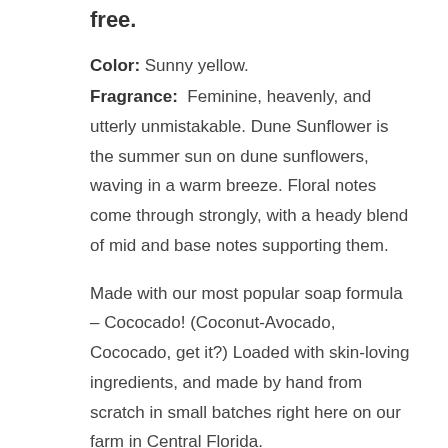free.
Color: Sunny yellow.
Fragrance:  Feminine, heavenly, and utterly unmistakable. Dune Sunflower is the summer sun on dune sunflowers, waving in a warm breeze. Floral notes come through strongly, with a heady blend of mid and base notes supporting them.
Made with our most popular soap formula – Cococado! (Coconut-Avocado, Cococado, get it?) Loaded with skin-loving ingredients, and made by hand from scratch in small batches right here on our farm in Central Florida.